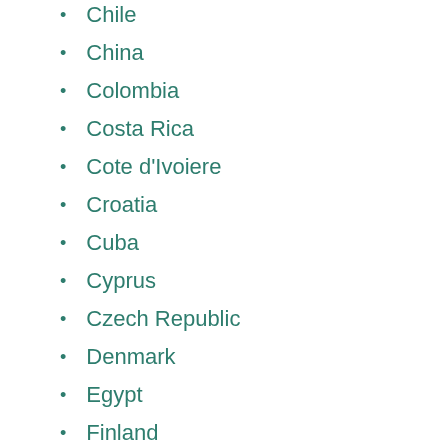Chile
China
Colombia
Costa Rica
Cote d'Ivoiere
Croatia
Cuba
Cyprus
Czech Republic
Denmark
Egypt
Finland
France
Germany
Greece
Hong Kong
Hungary
India
Iran
Ireland